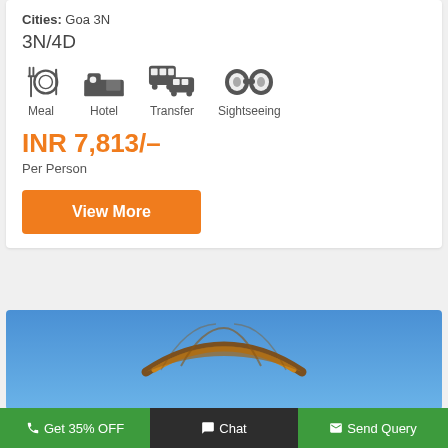Cities: Goa 3N
3N/4D
[Figure (infographic): Four travel icons: Meal (fork and plate), Hotel (bed), Transfer (bus and car), Sightseeing (binoculars), each with label below]
INR 7,813/–
Per Person
View More
[Figure (photo): A paraglider canopy against a blue sky]
Get 35% OFF   Chat   Send Query